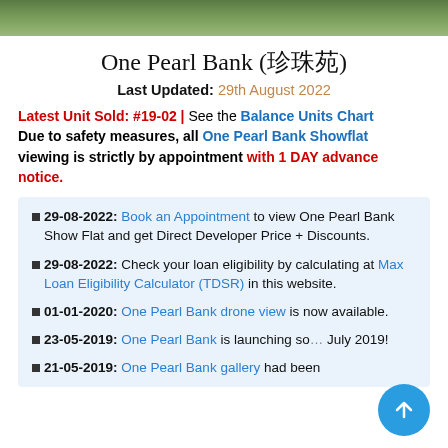[image banner]
One Pearl Bank (珍珠苑)
Last Updated: 29th August 2022
Latest Unit Sold: #19-02 | See the Balance Units Chart Due to safety measures, all One Pearl Bank Showflat viewing is strictly by appointment with 1 DAY advance notice.
29-08-2022: Book an Appointment to view One Pearl Bank Show Flat and get Direct Developer Price + Discounts.
29-08-2022: Check your loan eligibility by calculating at Max Loan Eligibility Calculator (TDSR) in this website.
01-01-2020: One Pearl Bank drone view is now available.
23-05-2019: One Pearl Bank is launching so... July 2019!
21-05-2019: One Pearl Bank gallery had been